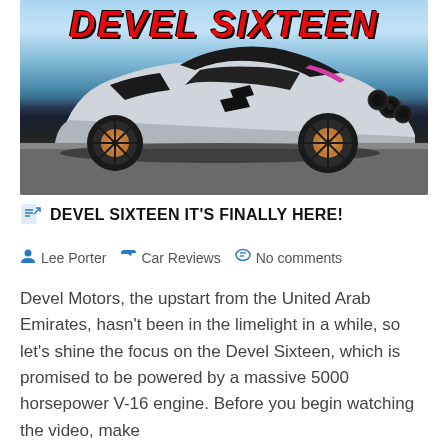[Figure (photo): A futuristic white and black supercar (Devel Sixteen) parked on pavement with a beach/ocean background. The car has extreme aerodynamic styling, large gold/bronze wheels, and a wide low body. The word 'DEVEL SIXTEEN' is overlaid in large red italic text at the top of the image.]
DEVEL SIXTEEN IT'S FINALLY HERE!
Lee Porter   Car Reviews   No comments
Devel Motors, the upstart from the United Arab Emirates, hasn't been in the limelight in a while, so let's shine the focus on the Devel Sixteen, which is promised to be powered by a massive 5000 horsepower V-16 engine. Before you begin watching the video, make